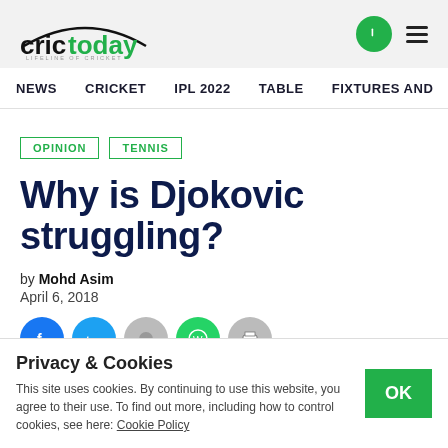crictoday LIFELINE OF CRICKET
NEWS  CRICKET  IPL 2022  TABLE  FIXTURES AND
OPINION
TENNIS
Why is Djokovic struggling?
by Mohd Asim
April 6, 2018
Privacy & Cookies
This site uses cookies. By continuing to use this website, you agree to their use. To find out more, including how to control cookies, see here: Cookie Policy